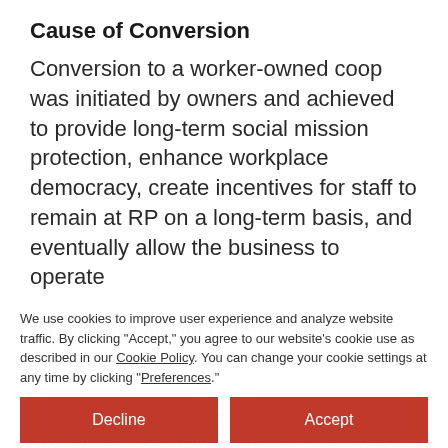Cause of Conversion
Conversion to a worker-owned coop was initiated by owners and achieved to provide long-term social mission protection, enhance workplace democracy, create incentives for staff to remain at RP on a long-term basis, and eventually allow the business to operate effectively without dependence on its founders.
The founding owner Dan Rosenberg would stay on with the business, and he continues today to serve as General Manager, as well. Addie Rose Holland stayed on as Marketing Manager. The
We use cookies to improve user experience and analyze website traffic. By clicking “Accept,” you agree to our website’s cookie use as described in our Cookie Policy. You can change your cookie settings at any time by clicking “Preferences.”